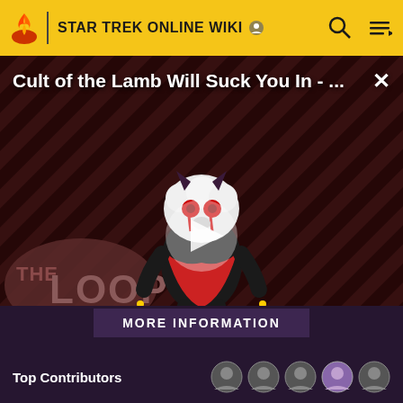STAR TREK ONLINE WIKI
[Figure (screenshot): Video thumbnail showing 'Cult of the Lamb Will Suck You In - The Loop' with a cartoon lamb character on a red/dark striped background, with a play button overlay and 'THE LOOP' text visible]
Cult of the Lamb Will Suck You In - The Loop
MORE INFORMATION
Top Contributors